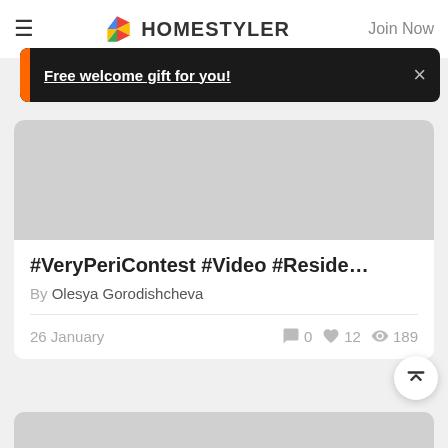HOMESTYLER | Join Now
Free welcome gift for you!
#VeryPeriContest #Video #Reside…
By Olesya Gorodishcheva
26 January   0  12  189
[Figure (screenshot): Gray placeholder image for second card]